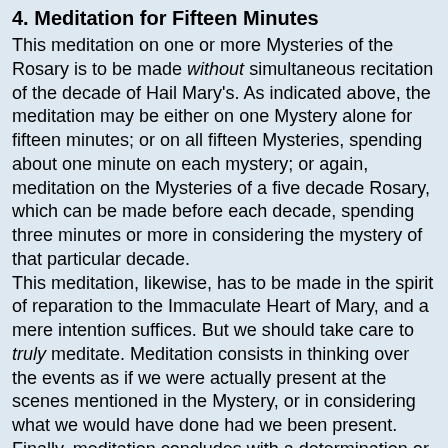4. Meditation for Fifteen Minutes
This meditation on one or more Mysteries of the Rosary is to be made without simultaneous recitation of the decade of Hail Mary's. As indicated above, the meditation may be either on one Mystery alone for fifteen minutes; or on all fifteen Mysteries, spending about one minute on each mystery; or again, meditation on the Mysteries of a five decade Rosary, which can be made before each decade, spending three minutes or more in considering the mystery of that particular decade.
This meditation, likewise, has to be made in the spirit of reparation to the Immaculate Heart of Mary, and a mere intention suffices. But we should take care to truly meditate. Meditation consists in thinking over the events as if we were actually present at the scenes mentioned in the Mystery, or in considering what we would have done had we been present. Finally, meditation concludes with a determination or resolution of some sort to amend our life, according to the lesson taught in the Mystery, in our behavior at home, at work, in our dealings with others, etc.
Many find it difficult to meditate because they have never made the attempt to do so. But a start could be made by